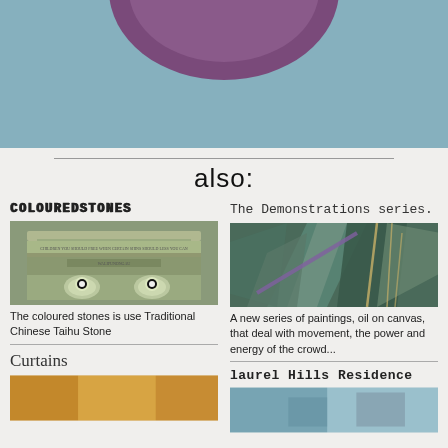[Figure (photo): Top portion of a light blue background with a purple/mauve rounded arc shape at the top center, partially cropped]
also:
COLOUREDSTONES
[Figure (photo): Photo of an ornate green-bronze architectural monument or gate with inscriptions and carved emblems]
The coloured stones is use Traditional Chinese Taihu Stone
The Demonstrations series.
[Figure (photo): Painting showing abstract angular shapes in teal, green and gray tones suggesting movement and energy of a crowd]
A new series of paintings, oil on canvas, that deal with movement, the power and energy of the crowd...
Curtains
[Figure (photo): Bottom partial image with warm orange/golden tones]
laurel Hills Residence
[Figure (photo): Bottom partial image with blue/gray tones]